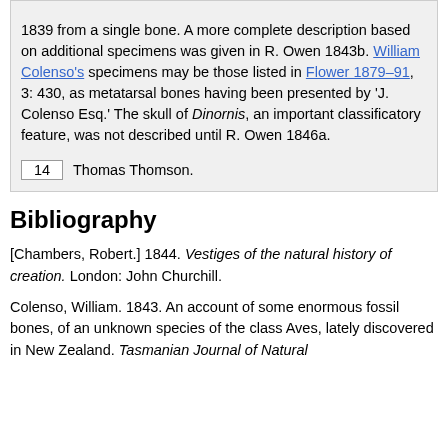1839 from a single bone. A more complete description based on additional specimens was given in R. Owen 1843b. William Colenso's specimens may be those listed in Flower 1879–91, 3: 430, as metatarsal bones having been presented by 'J. Colenso Esq.' The skull of Dinornis, an important classificatory feature, was not described until R. Owen 1846a.
14  Thomas Thomson.
Bibliography
[Chambers, Robert.] 1844. Vestiges of the natural history of creation. London: John Churchill.
Colenso, William. 1843. An account of some enormous fossil bones, of an unknown species of the class Aves, lately discovered in New Zealand. Tasmanian Journal of Natural